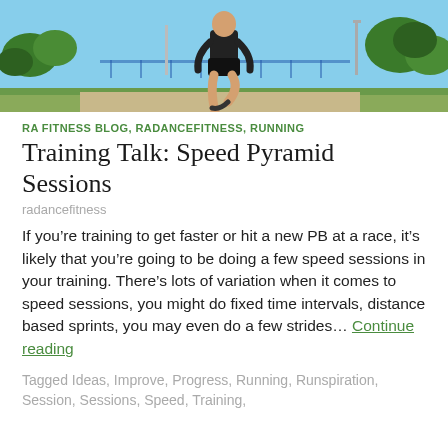[Figure (photo): Runner photographed from behind on a track or path, wearing black shorts, with trees and blue sky in background]
RA FITNESS BLOG, RADANCEFITNESS, RUNNING
Training Talk: Speed Pyramid Sessions
radancefitness
If you’re training to get faster or hit a new PB at a race, it’s likely that you’re going to be doing a few speed sessions in your training. There’s lots of variation when it comes to speed sessions, you might do fixed time intervals, distance based sprints, you may even do a few strides… Continue reading
Tagged Ideas, Improve, Progress, Running, Runspiration, Session, Sessions, Speed, Training,